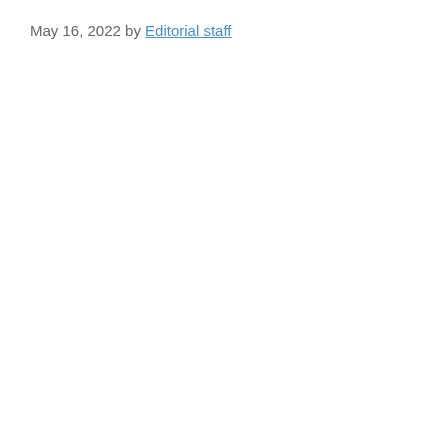May 16, 2022 by Editorial staff